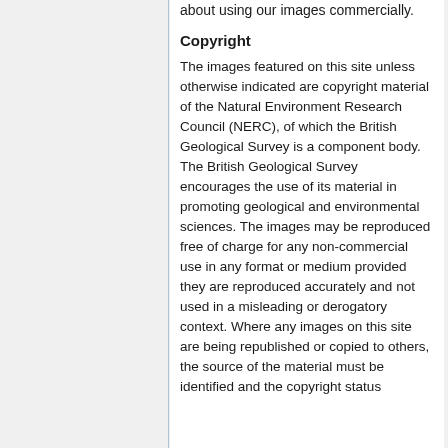about using our images commercially.
Copyright
The images featured on this site unless otherwise indicated are copyright material of the Natural Environment Research Council (NERC), of which the British Geological Survey is a component body. The British Geological Survey encourages the use of its material in promoting geological and environmental sciences. The images may be reproduced free of charge for any non-commercial use in any format or medium provided they are reproduced accurately and not used in a misleading or derogatory context. Where any images on this site are being republished or copied to others, the source of the material must be identified and the copyright status